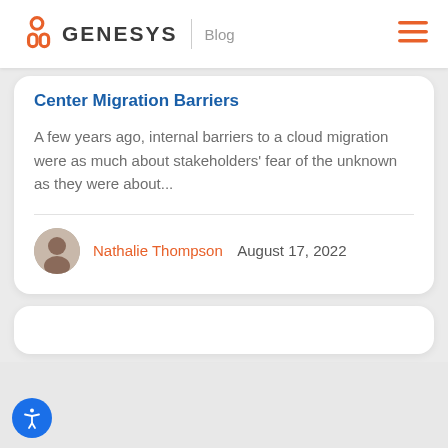GENESYS | Blog
Center Migration Barriers
A few years ago, internal barriers to a cloud migration were as much about stakeholders' fear of the unknown as they were about...
Nathalie Thompson   August 17, 2022